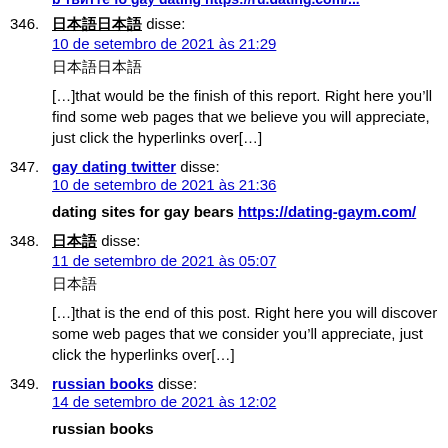b твитте fo gay dating https://ru.dating.com/... (truncated top)
346. 日本語 disse: 10 de setembro de 2021 às 21:29
日本語
[…]that would be the finish of this report. Right here you'll find some web pages that we believe you will appreciate, just click the hyperlinks over[…]
347. gay dating twitter disse: 10 de setembro de 2021 às 21:36
dating sites for gay bears https://dating-gaym.com/
348. 日本 disse: 11 de setembro de 2021 às 05:07
日本
[…]that is the end of this post. Right here you will discover some web pages that we consider you'll appreciate, just click the hyperlinks over[…]
349. russian books disse: 14 de setembro de 2021 às 12:02
russian books